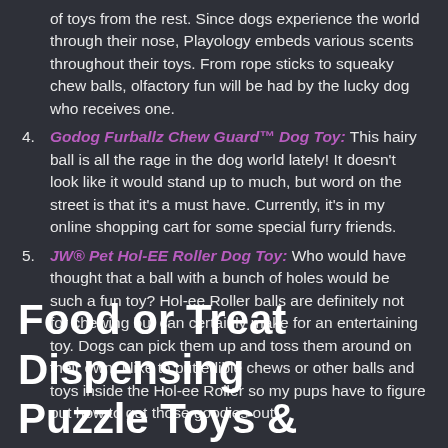of toys from the rest. Since dogs experience the world through their nose, Playology embeds various scents throughout their toys. From rope sticks to squeaky chew balls, olfactory fun will be had by the lucky dog who receives one.
4. Godog Furballz Chew Guard™ Dog Toy: This hairy ball is all the rage in the dog world lately! It doesn't look like it would stand up to much, but word on the street is that it's a must have. Currently, it's in my online shopping cart for some special furry friends.
5. JW® Pet Hol-EE Roller Dog Toy: Who would have thought that a ball with a bunch of holes would be such a fun toy? Hol-ee Roller balls are definitely not for chewing but can certainly make for an entertaining toy. Dogs can pick them up and toss them around on their own. I like to put edible chews or other balls and toys inside the Hol-ee Roller so my pups have to figure out how to get those goodies out.
Food or Treat Dispensing Puzzle Toys &